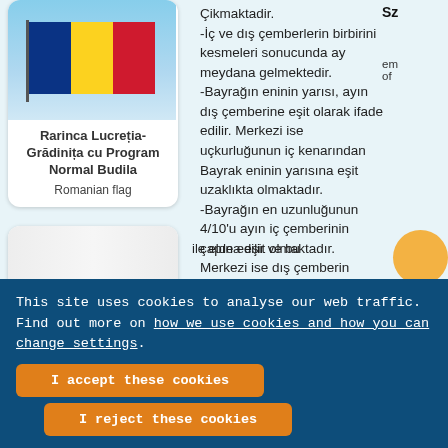[Figure (photo): Romanian flag waving against blue sky, mounted on a pole]
Rarinca Lucretia-Grădinița cu Program Normal Budila
Romanian flag
[Figure (photo): Polish flag with white eagle emblem on red and white background]
Çikmaktadir.
-İç ve dış çemberlerin birbirini kesmeleri sonucunda ay meydana gelmektedir.
-Bayrağın eninin yarısı, ayın dış çemberine eşit olarak ifade edilir. Merkezi ise uçkurluğunun iç kenarından Bayrak eninin yarısına eşit uzaklıkta olmaktadır.
-Bayrağın en uzunluğunun 4/10'u ayın iç çemberinin çapına eşit olmaktadır. Merkezi ise dış çemberin
Sz
em
of
This site uses cookies to analyse our web traffic. Find out more on how we use cookies and how you can change settings.
I accept these cookies
I reject these cookies
ile elde edilir ve bu